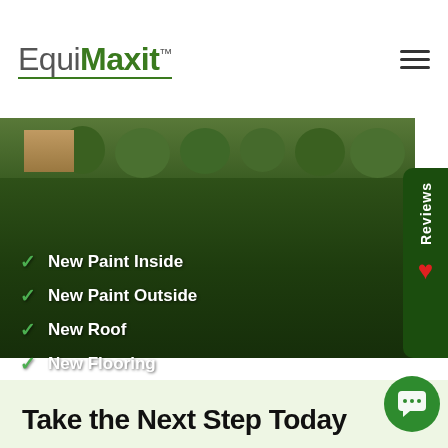EquiMaxit™
[Figure (photo): Aerial/ground-level photo of a house lawn with green shrubs and steps in the background, overlaid with a checklist of home improvement services]
New Paint Inside
New Paint Outside
New Roof
New Flooring
Take the Next Step Today